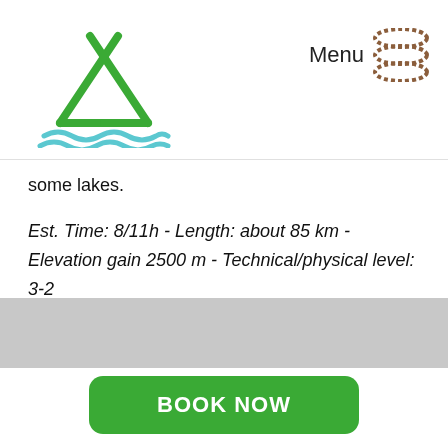Logo and Menu navigation header
some lakes.
Est. Time: 8/11h - Length: about 85 km - Elevation gain 2500 m - Technical/physical level: 3-2
[Figure (other): Gray bar footer area]
BOOK NOW